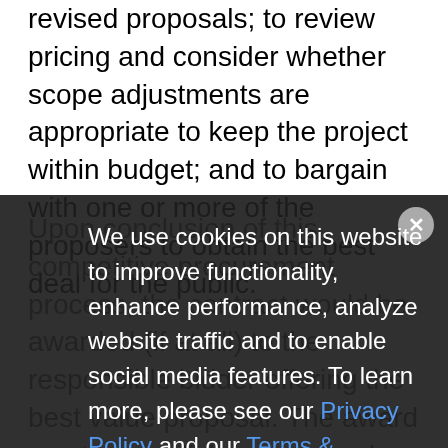revised proposals; to review pricing and consider whether scope adjustments are appropriate to keep the project within budget; and to bargain with one or more of the proposers to obtain the best deal for the public.
Upon conclusion of this competitive procurement process, the contract would be awarded (if at all) to the responsible bidder offering the best value proposal. The award must be publicly announced, along with a list identifying the rankings of the top three proposers and a written decision supporting the award.
We use cookies on this website to improve functionality, enhance performance, analyze website traffic and to enable social media features. To learn more, please see our Privacy Policy and our Terms & Conditions for additional detail.